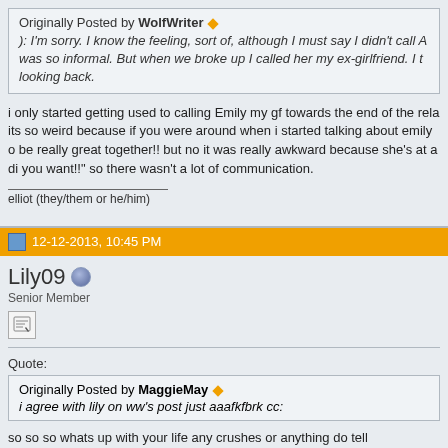Originally Posted by WolfWriter ◆
): I'm sorry. I know the feeling, sort of, although I must say I didn't call A was so informal. But when we broke up I called her my ex-girlfriend. I t looking back.
i only started getting used to calling Emily my gf towards the end of the rela its so weird because if you were around when i started talking about emily o be really great together!! but no it was really awkward because she's at a di you want!!" so there wasn't a lot of communication.
elliot (they/them or he/him)
12-12-2013, 10:45 PM
Lily09
Senior Member
Quote:
Originally Posted by MaggieMay ◆
i agree with lily on ww's post just aaafkfbrk cc:
so so so whats up with your life any crushes or anything do tell